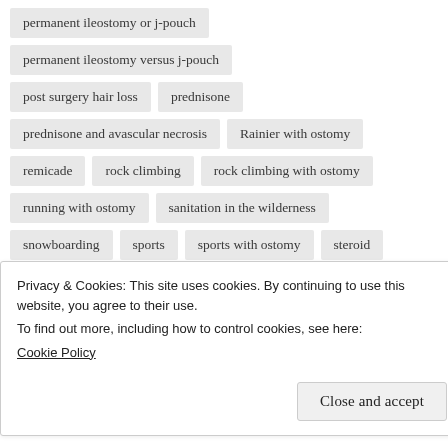permanent ileostomy or j-pouch
permanent ileostomy versus j-pouch
post surgery hair loss
prednisone
prednisone and avascular necrosis
Rainier with ostomy
remicade
rock climbing
rock climbing with ostomy
running with ostomy
sanitation in the wilderness
snowboarding
sports
sports with ostomy
steroid
stoma
stoma ulcers
surgery
surgery recovery
Privacy & Cookies: This site uses cookies. By continuing to use this website, you agree to their use.
To find out more, including how to control cookies, see here: Cookie Policy
Close and accept